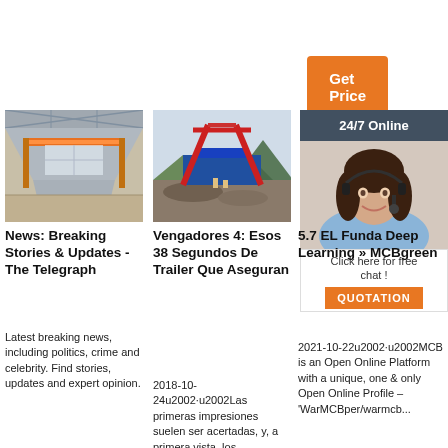[Figure (other): Orange 'Get Price' button]
[Figure (photo): Warehouse interior with orange overhead crane]
News: Breaking Stories & Updates - The Telegraph
Latest breaking news, including politics, crime and celebrity. Find stories, updates and expert opinion.
[Figure (photo): Industrial crane machine outdoors on construction site]
Vengadores 4: Esos 38 Segundos De Trailer Que Aseguran
2018-10-24u2002·u2002Las primeras impresiones suelen ser acertadas, y, a primera vista, los
[Figure (photo): 24/7 Online chat widget with woman wearing headset]
5.7 EL Funda Deep Learning » MCBgreen
2021-10-22u2002·u2002MCB is an Open Online Platform with a unique, one & only Open Online Profile – 'WarMCBper/warmcb...